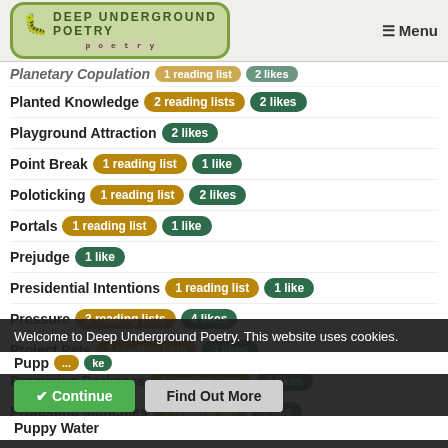Deep Underground Poetry — Menu
Planetary Copulation — 1 reading list, 2 likes
Planted Knowledge — 2 reading lists, 2 likes
Playground Attraction — 2 likes
Point Break — 1 reading list, 1 like
Poloticking — 1 reading list, 2 likes
Portals — 1 reading list, 1 like
Prejudge — 1 like
Presidential Intentions — 1 reading list, 1 like
Pressure — 3 reading lists, 4 likes
Project Pets — 3 reading lists, 3 likes
Promising Darkness — 3 reading lists, 3 likes
Protesting Munchies — 1 reading list, 1 like
Welcome to Deep Underground Poetry. This website uses cookies.
Puppy ... (partial)
Puppy Water (partial)